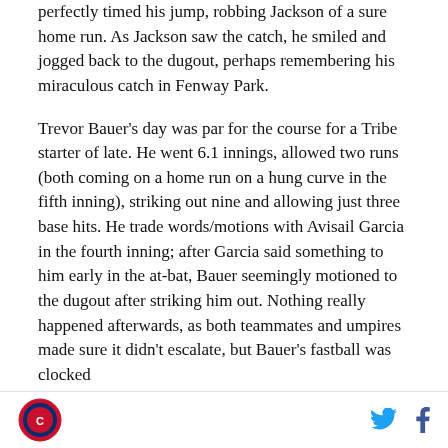perfectly timed his jump, robbing Jackson of a sure home run. As Jackson saw the catch, he smiled and jogged back to the dugout, perhaps remembering his miraculous catch in Fenway Park.
Trevor Bauer's day was par for the course for a Tribe starter of late. He went 6.1 innings, allowed two runs (both coming on a home run on a hung curve in the fifth inning), striking out nine and allowing just three base hits. He trade words/motions with Avisail Garcia in the fourth inning; after Garcia said something to him early in the at-bat, Bauer seemingly motioned to the dugout after striking him out. Nothing really happened afterwards, as both teammates and umpires made sure it didn't escalate, but Bauer's fastball was clocked
[logo] [twitter] [facebook]